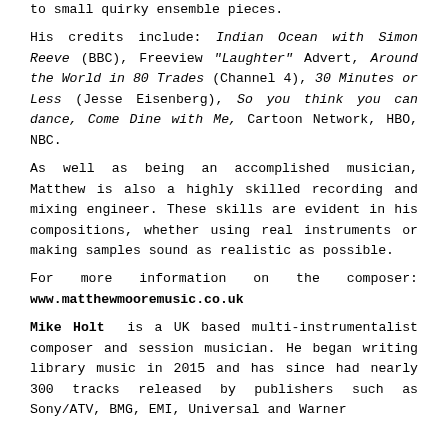to small quirky ensemble pieces.
His credits include: Indian Ocean with Simon Reeve (BBC), Freeview "Laughter" Advert, Around the World in 80 Trades (Channel 4), 30 Minutes or Less (Jesse Eisenberg), So you think you can dance, Come Dine with Me, Cartoon Network, HBO, NBC.
As well as being an accomplished musician, Matthew is also a highly skilled recording and mixing engineer. These skills are evident in his compositions, whether using real instruments or making samples sound as realistic as possible.
For more information on the composer: www.matthewmooremusic.co.uk
Mike Holt is a UK based multi-instrumentalist composer and session musician. He began writing library music in 2015 and has since had nearly 300 tracks released by publishers such as Sony/ATV, BMG, EMI, Universal and Warner